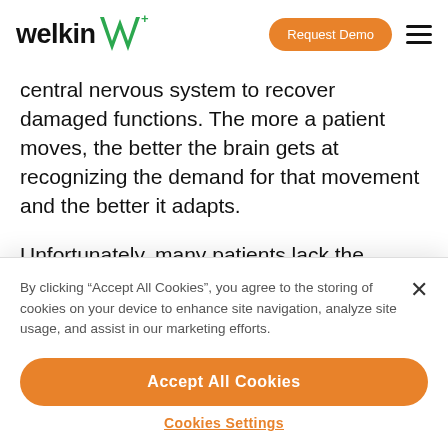welkin [logo] | Request Demo | [menu]
central nervous system to recover damaged functions. The more a patient moves, the better the brain gets at recognizing the demand for that movement and the better it adapts.
Unfortunately, many patients lack the motivation to
By clicking "Accept All Cookies", you agree to the storing of cookies on your device to enhance site navigation, analyze site usage, and assist in our marketing efforts.
Accept All Cookies
Cookies Settings